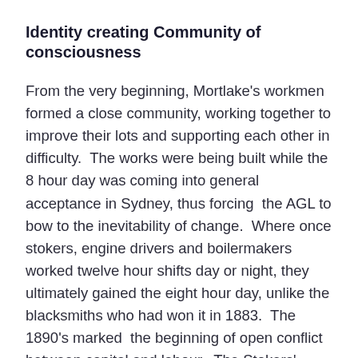Identity creating Community of consciousness
From the very beginning, Mortlake's workmen formed a close community, working together to improve their lots and supporting each other in difficulty.  The works were being built while the 8 hour day was coming into general acceptance in Sydney, thus forcing  the AGL to bow to the inevitability of change.  Where once stokers, engine drivers and boilermakers worked twelve hour shifts day or night, they ultimately gained the eight hour day, unlike the blacksmiths who had won it in 1883.  The 1890's marked  the beginning of open conflict between capital and labour.  The Stokers' Union (comprising Stokers, Yardmen, Engine Drivers and Boilermakers) successfully negotiated